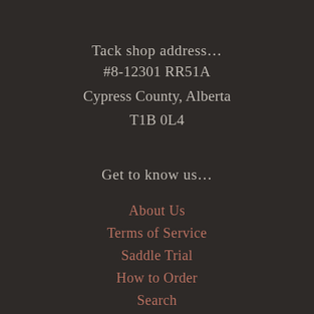Tack shop address…
#8-12301 RR51A
Cypress County, Alberta
T1B 0L4
Get to know us…
About Us
Terms of Service
Saddle Trial
How to Order
Search